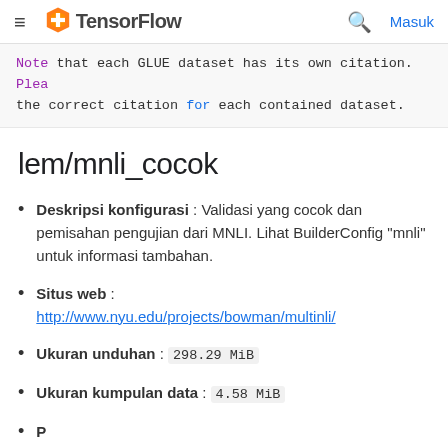TensorFlow  Masuk
Note that each GLUE dataset has its own citation. Plea the correct citation for each contained dataset.
lem/mnli_cocok
Deskripsi konfigurasi : Validasi yang cocok dan pemisahan pengujian dari MNLI. Lihat BuilderConfig "mnli" untuk informasi tambahan.
Situs web : http://www.nyu.edu/projects/bowman/multinli/
Ukuran unduhan : 298.29 MiB
Ukuran kumpulan data : 4.58 MiB